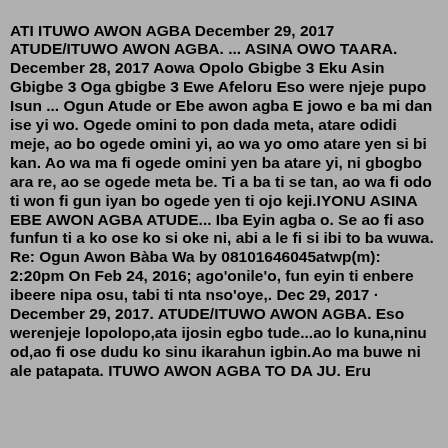ATI ITUWO AWON AGBA December 29, 2017 ATUDE/ITUWO AWON AGBA. ... ASINA OWO TAARA. December 28, 2017 Aowa Opolo Gbigbe 3 Eku Asin Gbigbe 3 Oga gbigbe 3 Ewe Afeloru Eso were njeje pupo Isun ... Ogun Atude or Ebe awon agba E jowo e ba mi dan ise yi wo. Ogede omini to pon dada meta, atare odidi meje, ao bo ogede omini yi, ao wa yo omo atare yen si bi kan. Ao wa ma fi ogede omini yen ba atare yi, ni gbogbo ara re, ao se ogede meta be. Ti a ba ti se tan, ao wa fi odo ti won fi gun iyan bo ogede yen ti ojo keji.IYONU ASINA EBE AWON AGBA ATUDE... Iba Eyin agba o. Se ao fi aso funfun ti a ko ose ko si oke ni, abi a le fi si ibi to ba wuwa. Re: Ogun Awon Bàba Wa by 08101646045atwp(m): 2:20pm On Feb 24, 2016; ago'onile'o, fun eyin ti enbere ibeere nipa osu, tabi ti nta nso'oye,. Dec 29, 2017 · December 29, 2017. ATUDE/ITUWO AWON AGBA. Eso werenjeje lopolopo,ata ijosin egbo tude...ao lo kuna,ninu od,ao fi ose dudu ko sinu ikarahun igbin.Ao ma buwe ni ale patapata. ITUWO AWON AGBA TO DA JU. Eru